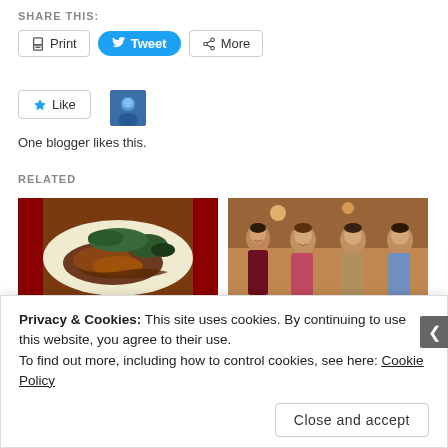SHARE THIS:
Print  Tweet  More
Like  One blogger likes this.
RELATED
[Figure (photo): Photo of a food dish with meat, vegetables and gravy on a plate]
[Figure (photo): Photo of four women in traditional Indian saris at an event]
Away From Home for...
Elizabeth's blog: D.C...
Privacy & Cookies: This site uses cookies. By continuing to use this website, you agree to their use.
To find out more, including how to control cookies, see here: Cookie Policy
Close and accept